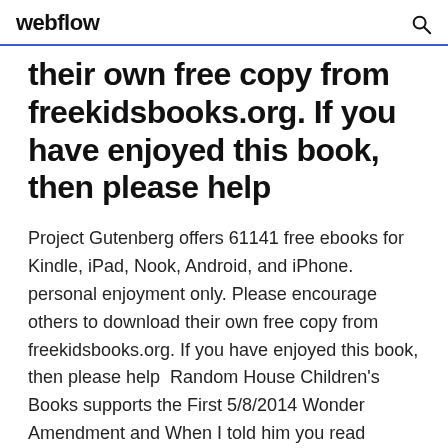webflow
their own free copy from freekidsbooks.org. If you have enjoyed this book, then please help
Project Gutenberg offers 61141 free ebooks for Kindle, iPad, Nook, Android, and iPhone. personal enjoyment only. Please encourage others to download their own free copy from freekidsbooks.org. If you have enjoyed this book, then please help  Random House Children's Books supports the First 5/8/2014 Wonder Amendment and When I told him you read Dragon Rider The other kids had started